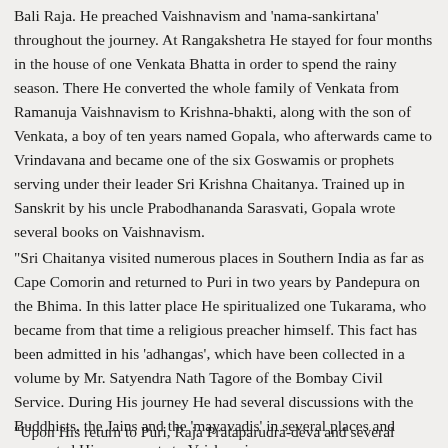Bali Raja. He preached Vaishnavism and 'nama-sankirtana' throughout the journey. At Rangakshetra He stayed for four months in the house of one Venkata Bhatta in order to spend the rainy season. There He converted the whole family of Venkata from Ramanuja Vaishnavism to Krishna-bhakti, along with the son of Venkata, a boy of ten years named Gopala, who afterwards came to Vrindavana and became one of the six Goswamis or prophets serving under their leader Sri Krishna Chaitanya. Trained up in Sanskrit by his uncle Prabodhananda Sarasvati, Gopala wrote several books on Vaishnavism.
“Sri Chaitanya visited numerous places in Southern India as far as Cape Comorin and returned to Puri in two years by Pandepura on the Bhima. In this latter place He spiritualized one Tukarama, who became from that time a religious preacher himself. This fact has been admitted in his ‘adhangas’, which have been collected in a volume by Mr. Satyendra Nath Tagore of the Bombay Civil Service. During His journey He had several discussions with the Buddhists, the Jains and the ‘mayavadis’ in several places and converted His opponents to Vaishnavism.
“Upon His return to Puri, Raja Prataparudra-deva and several ‘pandita brahmanas’ joined the banner of Chaitanya Mahaprabhu. He now got...